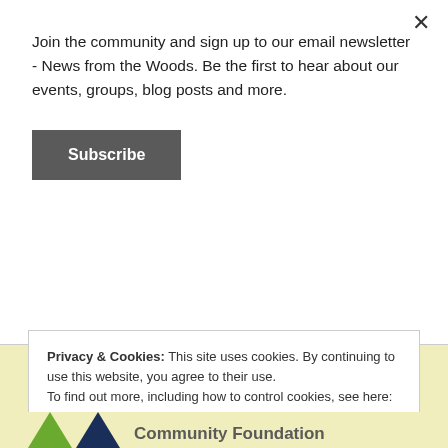Join the community and sign up to our email newsletter - News from the Woods. Be the first to hear about our events, groups, blog posts and more.
Subscribe
With thanks to our funders and partners
Privacy & Cookies: This site uses cookies. By continuing to use this website, you agree to their use.
To find out more, including how to control cookies, see here: Cookie Policy
Close and accept
[Figure (logo): Partial community foundation logo with green and navy triangles and text 'Community Foundation']